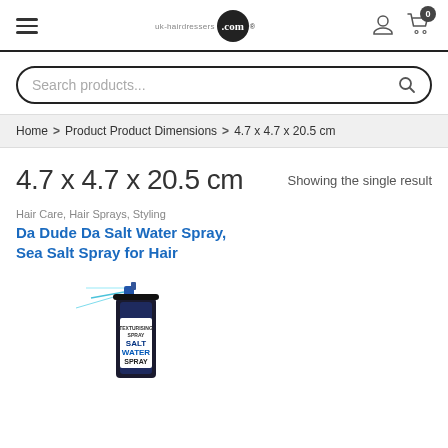uk-hairdressers.com navigation header with hamburger menu, logo, user icon, cart (0)
Search products...
Home > Product Product Dimensions > 4.7 x 4.7 x 20.5 cm
4.7 x 4.7 x 20.5 cm
Showing the single result
Hair Care, Hair Sprays, Styling
Da Dude Da Salt Water Spray, Sea Salt Spray for Hair
[Figure (photo): Product photo of Da Dude Da Salt Water Spray / Sea Salt Spray bottle with 'TEXTURISING SPRAY' label and 'SALT WATER SPRAY' text in blue and white packaging]